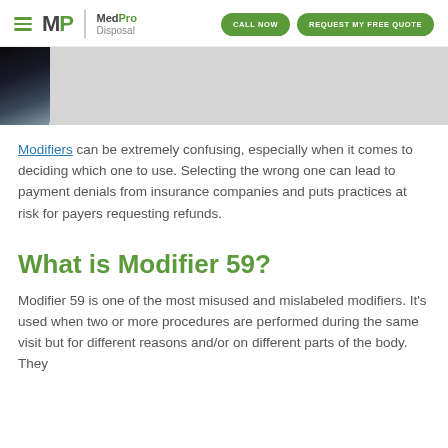MedPro Disposal | CALL NOW | REQUEST MY FREE QUOTE
[Figure (photo): Partial hero image showing a dark angled object on a light grey background, cropped at top of content area]
Modifiers can be extremely confusing, especially when it comes to deciding which one to use. Selecting the wrong one can lead to payment denials from insurance companies and puts practices at risk for payers requesting refunds.
What is Modifier 59?
Modifier 59 is one of the most misused and mislabeled modifiers. It's used when two or more procedures are performed during the same visit but for different reasons and/or on different parts of the body. They